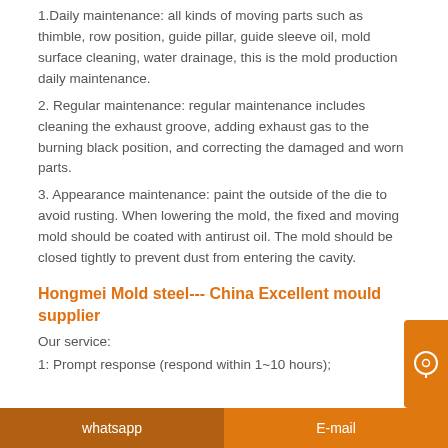1.Daily maintenance: all kinds of moving parts such as thimble, row position, guide pillar, guide sleeve oil, mold surface cleaning, water drainage, this is the mold production daily maintenance.
2. Regular maintenance: regular maintenance includes cleaning the exhaust groove, adding exhaust gas to the burning black position, and correcting the damaged and worn parts.
3. Appearance maintenance: paint the outside of the die to avoid rusting. When lowering the mold, the fixed and moving mold should be coated with antirust oil. The mold should be closed tightly to prevent dust from entering the cavity.
Hongmei Mold steel--- China Excellent mould supplier
Our service:
1: Prompt response (respond within 1~10 hours);
whatsapp    E-mail